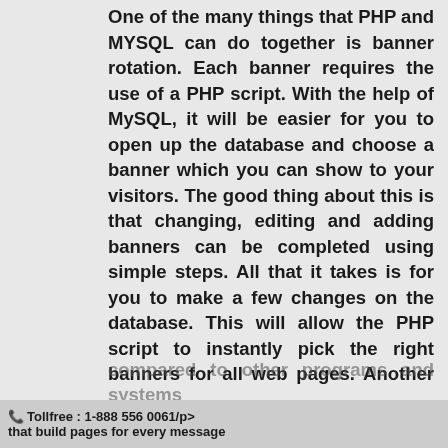One of the many things that PHP and MYSQL can do together is banner rotation. Each banner requires the use of a PHP script. With the help of MySQL, it will be easier for you to open up the database and choose a banner which you can show to your visitors. The good thing about this is that changing, editing and adding banners can be completed using simple steps. All that it takes is for you to make a few changes on the database. This will allow the PHP script to instantly pick the right banners for all web pages. Another advantage of using PHP and MySQL together is that it can help you in efficiently running hundreds of message boards and forums over the net. In fact, the interaction of the two is more efficient when compared to other programs and systems that build pages for every message
☎ Tollfree : 1-888 556 0061/p>